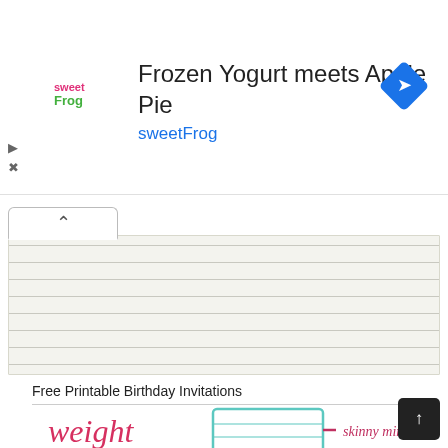[Figure (screenshot): Advertisement banner: sweetFrog logo on left, text 'Frozen Yogurt meets Apple Pie' and 'sweetFrog' in blue, blue diamond navigation icon on right]
[Figure (screenshot): Browser UI element: collapse/accordion tab with up caret, and a lined textarea/content area below it]
Free Printable Birthday Invitations
[Figure (infographic): Weight loss tracker graphic showing text 'weight loss tracker' in pink/teal on left, a teal thermometer-style vertical bar chart in center with horizontal lines, and labels on right: 'skinny minny', 'total hottie', 'feelin' fine']